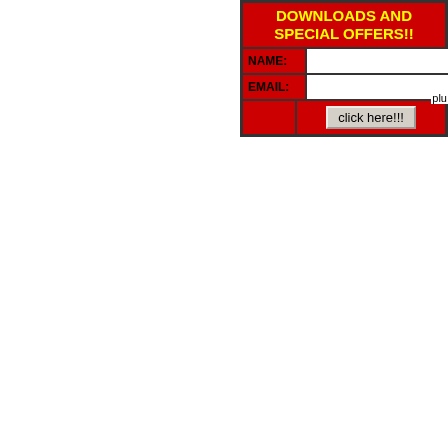[Figure (screenshot): A web form widget with red background and yellow bold text header reading 'DOWNLOADS AND SPECIAL OFFERS!!', with NAME: and EMAIL: input fields and a 'click here!!!' button, partially cropped on the right edge.]